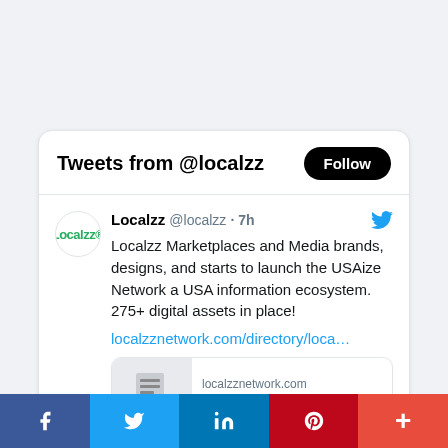Tweets from @localzz
Localzz @localzz · 7h
Localzz Marketplaces and Media brands, designs, and starts to launch the USAize Network a USA information ecosystem. 275+ digital assets in place!
localzznetwork.com/directory/loca…
localzznetwork.com
Localzz Network -
f | bird | in | P | +